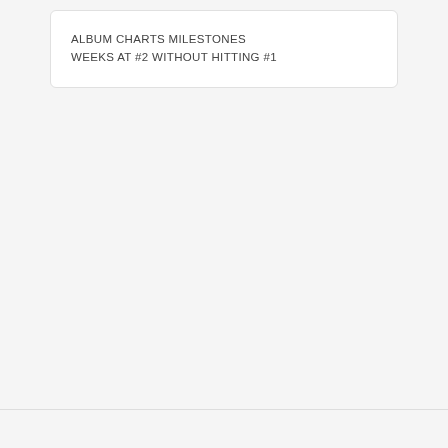ALBUM CHARTS MILESTONES
WEEKS AT #2 WITHOUT HITTING #1